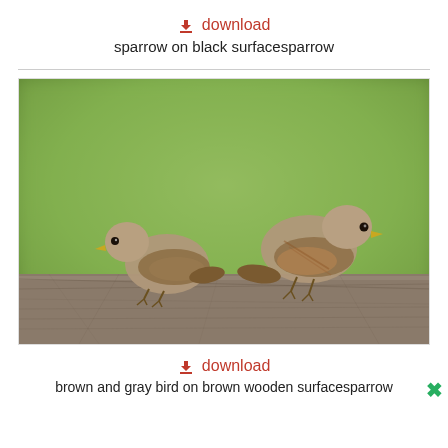⬇ download
sparrow on black surfacesparrow
[Figure (photo): Two sparrows perched on a weathered gray wooden surface with a blurred green background. The left sparrow faces right and the right sparrow faces left.]
⬇ download
brown and gray bird on brown wooden surfacesparrow